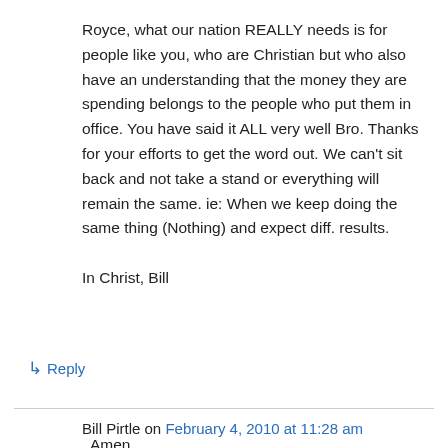Royce, what our nation REALLY needs is for people like you, who are Christian but who also have an understanding that the money they are spending belongs to the people who put them in office. You have said it ALL very well Bro. Thanks for your efforts to get the word out. We can't sit back and not take a stand or everything will remain the same. ie: When we keep doing the same thing (Nothing) and expect diff. results.

In Christ, Bill
↳ Reply
Bill Pirtle on February 4, 2010 at 11:28 am
Amen